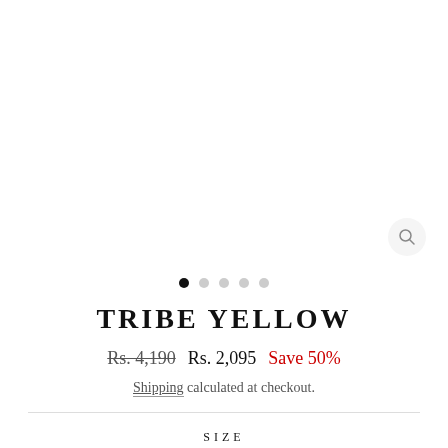[Figure (photo): Product image area (white/blank) with a zoom/search icon button in the bottom-right corner]
• ○ ○ ○ ○ (image carousel dots, first dot filled)
TRIBE YELLOW
Rs. 4,190  Rs. 2,095  Save 50%
Shipping calculated at checkout.
SIZE